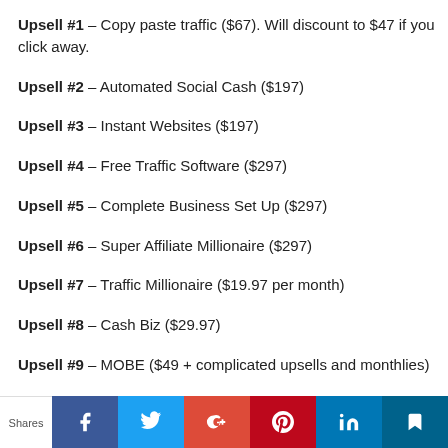Upsell #1 – Copy paste traffic ($67). Will discount to $47 if you click away.
Upsell #2 – Automated Social Cash ($197)
Upsell #3 – Instant Websites ($197)
Upsell #4 – Free Traffic Software ($297)
Upsell #5 – Complete Business Set Up ($297)
Upsell #6 – Super Affiliate Millionaire ($297)
Upsell #7 – Traffic Millionaire ($19.97 per month)
Upsell #8 – Cash Biz ($29.97)
Upsell #9 – MOBE ($49 + complicated upsells and monthlies)
Shares | Facebook | Twitter | Google+ | Pinterest | LinkedIn | Bookmark